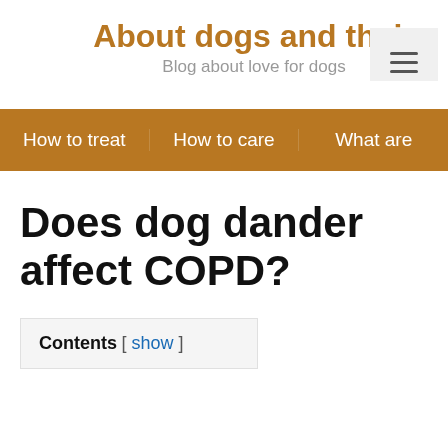About dogs and their
Blog about love for dogs
How to treat  How to care  What are
Does dog dander affect COPD?
Contents [ show ]